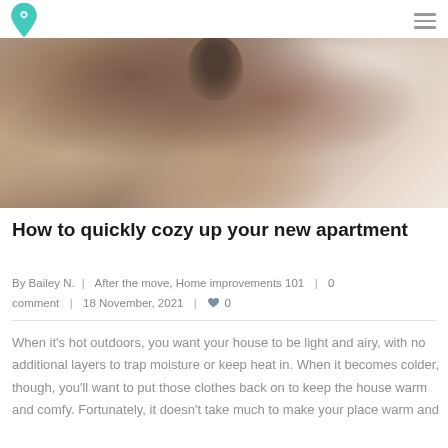[Logo: location pin with heart] [Hamburger menu icon]
[Figure (photo): Close-up photo of a dog (pug) bundled in a soft brown blanket on a bed, with white bedding in the background. Warm, cozy tones.]
How to quickly cozy up your new apartment
By Bailey N.  |  After the move, Home improvements 101  |  0 comment  |  18 November, 2021  |  ♥ 0
When it's hot outdoors, you want your house to be light and airy, with no additional layers to trap moisture or keep heat in. When it becomes colder, though, you'll want to put those clothes back on to keep the house warm and comfy. Fortunately, it doesn't take much to make your place warm and